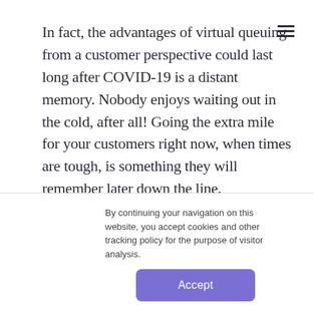In fact, the advantages of virtual queuing from a customer perspective could last long after COVID-19 is a distant memory. Nobody enjoys waiting out in the cold, after all! Going the extra mile for your customers right now, when times are tough, is something they will remember later down the line.
3. It helps you make the
By continuing your navigation on this website, you accept cookies and other tracking policy for the purpose of visitor analysis.